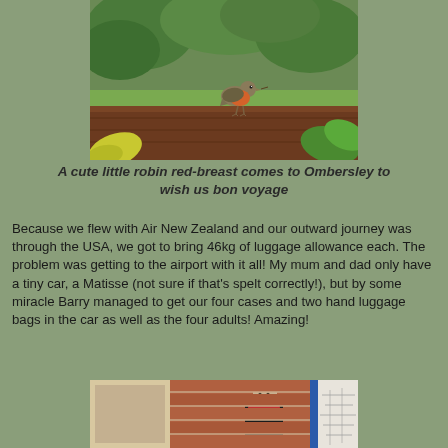[Figure (photo): A robin red-breast bird perched on a wooden surface (fence or box) with green foliage in the background]
A cute little robin red-breast comes to Ombersley to wish us bon voyage
Because we flew with Air New Zealand and our outward journey was through the USA, we got to bring 46kg of luggage allowance each.  The problem was getting to the airport with it all!  My mum and dad only have a tiny car, a Matisse (not sure if that's spelt correctly!), but by some miracle Barry managed to get our four cases and two hand luggage bags in the car as well as the four adults!  Amazing!
[Figure (photo): A woman smiling at the door of a brick house, wearing a red scarf, with what appears to be a map or document partially visible on the right side]